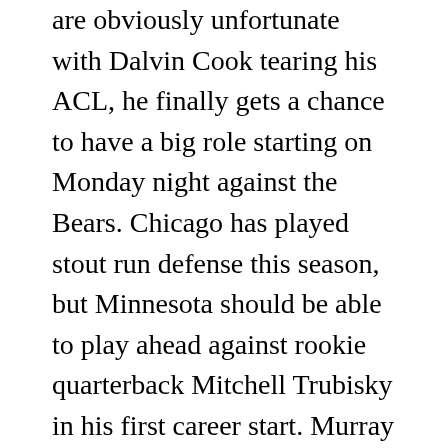are obviously unfortunate with Dalvin Cook tearing his ACL, he finally gets a chance to have a big role starting on Monday night against the Bears. Chicago has played stout run defense this season, but Minnesota should be able to play ahead against rookie quarterback Mitchell Trubisky in his first career start. Murray was one of the premier touchdown scorers in the NFL last season, and he looks like a solid RB2 in standard leagues if he's healthy the rest of the way.
Thumbs Up: Wayne Gallman (v LAC) |